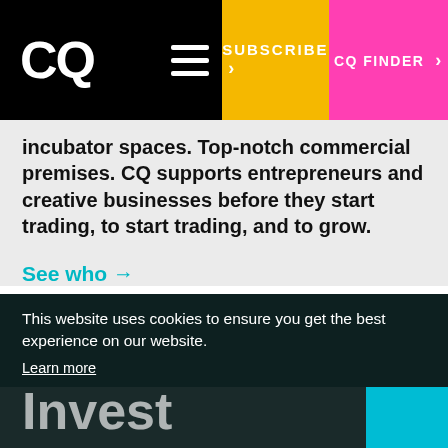CQ | SUBSCRIBE > | CQ FINDER >
incubator spaces. Top-notch commercial premises. CQ supports entrepreneurs and creative businesses before they start trading, to start trading, and to grow.
See who →
This website uses cookies to ensure you get the best experience on our website.
Learn more
Invest
Got it!
Investment and business location in Nottingham support the growth of our creative economy. The Creative Quarter offers the right skills, the right location and the best opportunities in the East Midlands' fastest growing city.